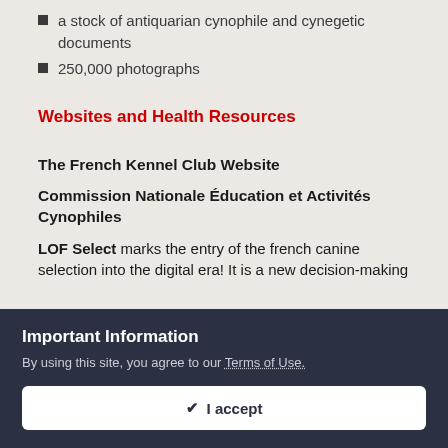a stock of antiquarian cynophile and cynegetic documents
250,000 photographs
Websites and Health Resources
The French Kennel Club Website
Commission Nationale Éducation et Activités Cynophiles
LOF Select marks the entry of the french canine selection into the digital era! It is a new decision-making
Important Information
By using this site, you agree to our Terms of Use.
I accept